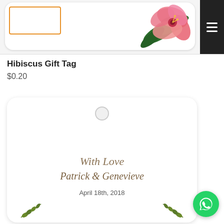[Figure (illustration): Top portion of a product listing page showing a hibiscus gift tag card with an orange border rectangle, green tropical leaves, and a pink hibiscus flower. A dark hamburger menu icon appears in the top right corner.]
Hibiscus Gift Tag
$0.20
[Figure (illustration): A white rounded-rectangle gift tag card with a hole at the top. The tag contains cursive text: 'With Love', 'Patrick & Genevieve', and 'April 18th, 2018', with small olive branch decorations at the bottom corners. A green WhatsApp phone icon button overlaps the bottom right.]